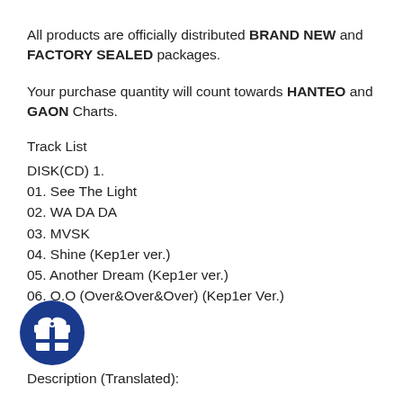All products are officially distributed BRAND NEW and FACTORY SEALED packages.
Your purchase quantity will count towards HANTEO and GAON Charts.
Track List
DISK(CD) 1.
01. See The Light
02. WA DA DA
03. MVSK
04. Shine (Kep1er ver.)
05. Another Dream (Kep1er ver.)
06. O.O (Over&Over&Over) (Kep1er Ver.)
[Figure (illustration): Blue circular gift/reward icon with a gift box symbol in white]
Description (Translated):